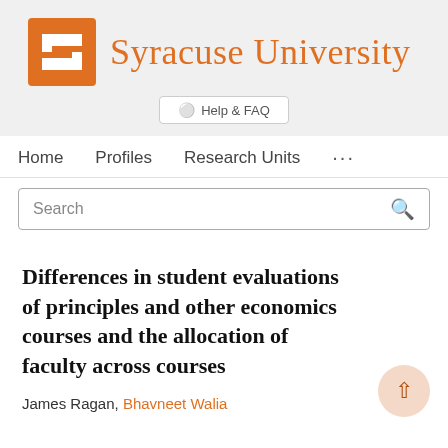[Figure (logo): Syracuse University logo with orange block S and orange text wordmark 'Syracuse University']
Help & FAQ
Home    Profiles    Research Units    ...
Search
Differences in student evaluations of principles and other economics courses and the allocation of faculty across courses
James Ragan, Bhavneet Walia